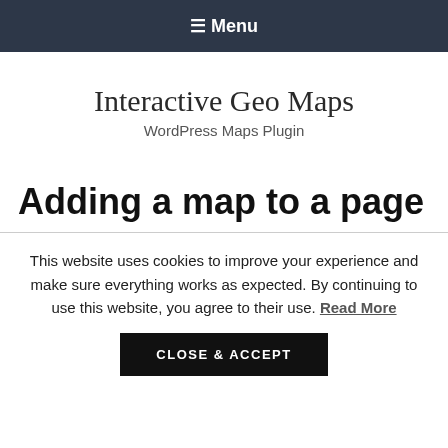≡ Menu
Interactive Geo Maps
WordPress Maps Plugin
Adding a map to a page
This website uses cookies to improve your experience and make sure everything works as expected. By continuing to use this website, you agree to their use. Read More
CLOSE & ACCEPT